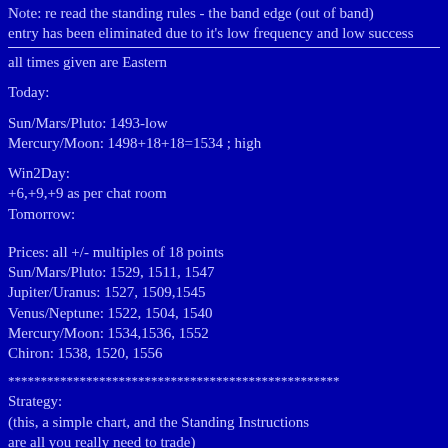Note: re read the standing rules - the band edge (out of band) entry has been eliminated due to it's low frequency and low success
all times given are Eastern
Today:
Sun/Mars/Pluto: 1493-low
Mercury/Moon: 1498+18+18=1534 ; high
Win2Day:
+6,+9,+9 as per chat room
Tomorrow:
Prices: all +/- multiples of 18 points
Sun/Mars/Pluto: 1529, 1511, 1547
Jupiter/Uranus: 1527, 1509,1545
Venus/Neptune: 1522, 1504, 1540
Mercury/Moon: 1534,1536, 1552
Chiron: 1538, 1520, 1556
***************************************************
Strategy:
(this, a simple chart, and the Standing Instructions
are all you really need to trade)